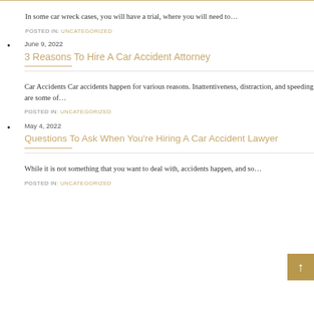In some car wreck cases, you will have a trial, where you will need to…
POSTED IN: UNCATEGORIZED
June 9, 2022
3 Reasons To Hire A Car Accident Attorney
Car Accidents Car accidents happen for various reasons. Inattentiveness, distraction, and speeding are some of…
POSTED IN: UNCATEGORIZED
May 4, 2022
Questions To Ask When You're Hiring A Car Accident Lawyer
While it is not something that you want to deal with, accidents happen, and so…
POSTED IN: UNCATEGORIZED